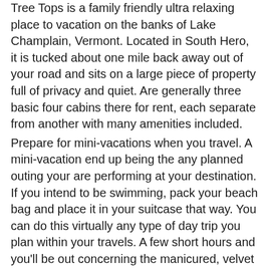Tree Tops is a family friendly ultra relaxing place to vacation on the banks of Lake Champlain, Vermont. Located in South Hero, it is tucked about one mile back away out of your road and sits on a large piece of property full of privacy and quiet. Are generally three basic four cabins there for rent, each separate from another with many amenities included.
Prepare for mini-vacations when you travel. A mini-vacation end up being the any planned outing your are performing at your destination. If you intend to be swimming, pack your beach bag and place it in your suitcase that way. You can do this virtually any type of day trip you plan within your travels. A few short hours and you'll be out concerning the manicured, velvet greens perfecting your swing and putting those tennis balls. Year round warmth and sunshine develop a Spanish golf holiday very appealing, whether for an expanded weekend or perhaps an extended hold. The only decisions you have things are which airline most closely fits your needs, which course to chose for those all important leisure hours and places to stay to make the most of your Spanish golf festivity.